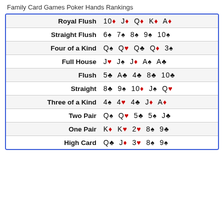Family Card Games Poker Hands Rankings
| Hand | Cards |
| --- | --- |
| Royal Flush | 10♦ J♦ Q♦ K♦ A♦ |
| Straight Flush | 6♠ 7♠ 8♠ 9♠ 10♠ |
| Four of a Kind | Q♠ Q♥ Q♣ Q♦ 3♠ |
| Full House | J♥ J♠ J♦ A♠ A♣ |
| Flush | 5♣ A♣ 4♣ 8♣ 10♣ |
| Straight | 8♣ 9♠ 10♦ J♠ Q♥ |
| Three of a Kind | 4♠ 4♥ 4♣ J♦ A♦ |
| Two Pair | Q♠ Q♥ 5♣ 5♠ J♣ |
| One Pair | K♦ K♥ 2♥ 8♠ 9♣ |
| High Card | Q♣ J♦ 3♥ 8♠ 9♠ |